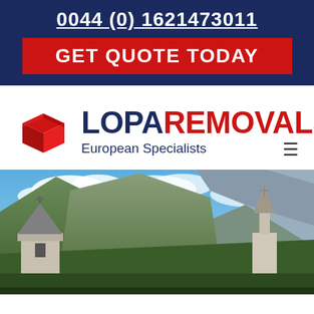0044 (0) 1621473011
GET QUOTE TODAY
[Figure (logo): Lopa Removals logo with red box icon, dark navy text LOPA and red text REMOVALS, tagline European Specialists]
[Figure (photo): Alpine European landscape with church spires, mountains covered in trees, and blue sky with clouds]